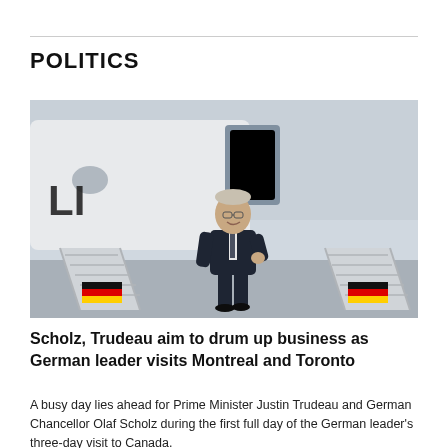POLITICS
[Figure (photo): German Chancellor Olaf Scholz descending the stairs from a government aircraft, wearing a dark suit and tie, with the German flag colors visible on the plane steps.]
Scholz, Trudeau aim to drum up business as German leader visits Montreal and Toronto
A busy day lies ahead for Prime Minister Justin Trudeau and German Chancellor Olaf Scholz during the first full day of the German leader's three-day visit to Canada.